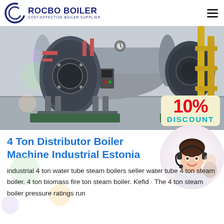ROCBO BOILER — COST-EFFECTIVE BOILER SUPPLIER
[Figure (photo): Industrial boiler machines in a factory setting with a 10% DISCOUNT badge overlay]
4 Ton Distributor Boiler Machine Industrial Estonia
industrial 4 ton water tube steam boilers seller water tube 4 ton steam boiler. 4 ton biomass fire ton steam boiler. Kefid · The 4 ton steam boiler pressure ratings run